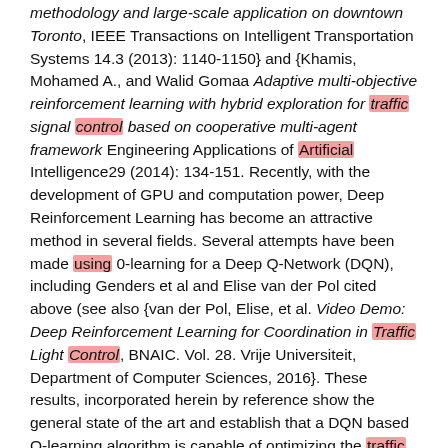methodology and large-scale application on downtown Toronto, IEEE Transactions on Intelligent Transportation Systems 14.3 (2013): 1140-1150} and {Khamis, Mohamed A., and Walid Gomaa Adaptive multi-objective reinforcement learning with hybrid exploration for traffic signal control based on cooperative multi-agent framework Engineering Applications of Artificial Intelligence29 (2014): 134-151. Recently, with the development of GPU and computation power, Deep Reinforcement Learning has become an attractive method in several fields. Several attempts have been made using 0-learning for a Deep Q-Network (DQN), including Genders et al and Elise van der Pol cited above (see also {van der Pol, Elise, et al. Video Demo: Deep Reinforcement Learning for Coordination in Traffic Light Control, BNAIC. Vol. 28. Vrije Universiteit, Department of Computer Sciences, 2016}. These results, incorporated herein by reference show the general state of the art and establish that a DQN based Q-learning algorithm is capable of optimizing the traffic flow in an intelligent traffic